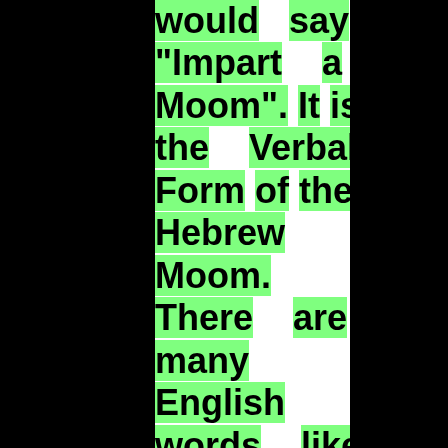would say "Impart a Moom". It is the Verbal Form of the Hebrew Moom. There are many English words like that. One could reconstruct spoken Hebrew from Biblical Times with